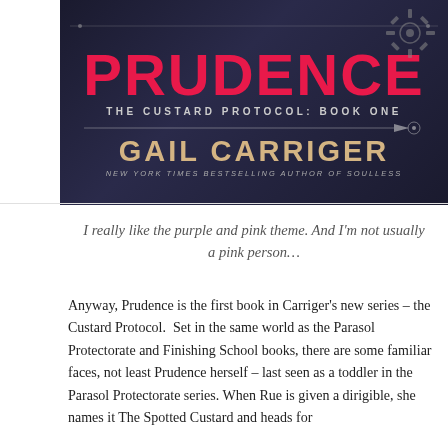[Figure (photo): Book cover of 'Prudence: The Custard Protocol Book One' by Gail Carriger, New York Times Bestselling Author of Soulless. Dark background with large red title text, gold author name, and steampunk gear imagery.]
I really like the purple and pink theme. And I'm not usually a pink person…
Anyway, Prudence is the first book in Carriger's new series – the Custard Protocol.  Set in the same world as the Parasol Protectorate and Finishing School books, there are some familiar faces, not least Prudence herself – last seen as a toddler in the Parasol Protectorate series. When Rue is given a dirigible, she names it The Spotted Custard and heads for